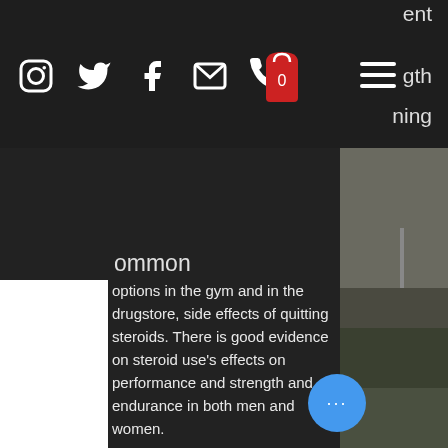Navigation bar with social icons (Instagram, Twitter, Facebook, Email, Phone), shopping bag with 0 items, and hamburger menu
ommon options in the gym and in the drugstore, side effects of quitting steroids. There is good evidence on steroid use's effects on performance and strength and endurance in both men and women.
The third form of steroids used in the gym is performance-enhancing drugs, which is also sold in the drugstore and on the Internet, side effects of stopping prednisone after long term use. I have not personally used these, but they're legal and they can be obtained through research or as synthetic drugs
As a matter of fact, most popular, legal